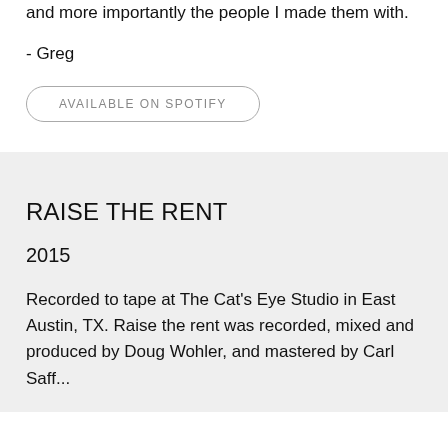and more importantly the people I made them with.
- Greg
AVAILABLE ON SPOTIFY
RAISE THE RENT
2015
Recorded to tape at The Cat's Eye Studio in East Austin, TX. Raise the rent was recorded, mixed and produced by Doug Wohler, and mastered by Carl Saff...